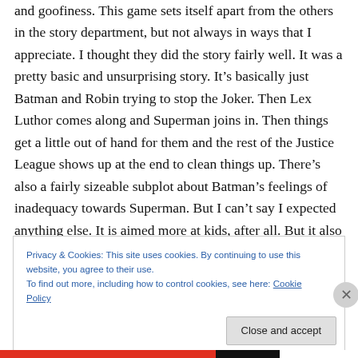and goofiness. This game sets itself apart from the others in the story department, but not always in ways that I appreciate. I thought they did the story fairly well. It was a pretty basic and unsurprising story. It's basically just Batman and Robin trying to stop the Joker. Then Lex Luthor comes along and Superman joins in. Then things get a little out of hand for them and the rest of the Justice League shows up at the end to clean things up. There's also a fairly sizeable subplot about Batman's feelings of inadequacy towards Superman. But I can't say I expected anything else. It is aimed more at kids, after all. But it also
Privacy & Cookies: This site uses cookies. By continuing to use this website, you agree to their use.
To find out more, including how to control cookies, see here: Cookie Policy